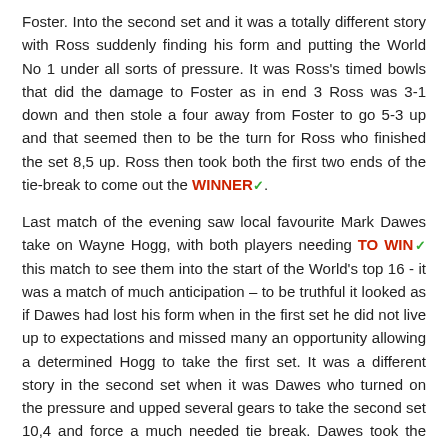Foster. Into the second set and it was a totally different story with Ross suddenly finding his form and putting the World No 1 under all sorts of pressure. It was Ross's timed bowls that did the damage to Foster as in end 3 Ross was 3-1 down and then stole a four away from Foster to go 5-3 up and that seemed then to be the turn for Ross who finished the set 8,5 up. Ross then took both the first two ends of the tie-break to come out the WINNER✅.
Last match of the evening saw local favourite Mark Dawes take on Wayne Hogg, with both players needing TO WIN✅ this match to see them into the start of the World's top 16 - it was a match of much anticipation – to be truthful it looked as if Dawes had lost his form when in the first set he did not live up to expectations and missed many an opportunity allowing a determined Hogg to take the first set. It was a different story in the second set when it was Dawes who turned on the pressure and upped several gears to take the second set 10,4 and force a much needed tie break. Dawes took the first end with precision bowls and then Hogg returned the compliment to take the second end, into the third end and with Dawes holding game Hogg played a perfect runner to strike out the bowls of Dawes – lady luck